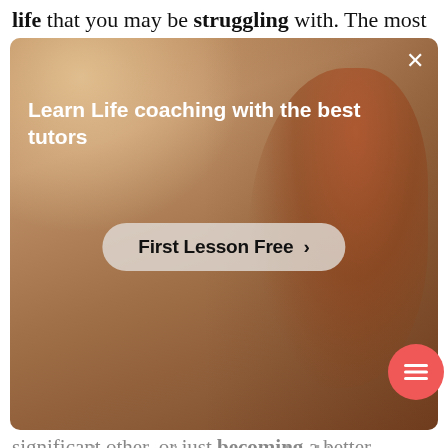life that you may be struggling with. The most
[Figure (screenshot): Advertisement overlay showing a person in a red shirt with text 'Learn Life coaching with the best tutors' and a 'First Lesson Free >' button. Dark warm-toned background. Close (X) button in top right corner.]
significant other, or just becoming a better communicator and more organized in your personal and professional life.
If you decide to hire a life coach, you should be open and willing to change. There may be certain things that may be harder for you to let go of or adopt, this can be eating less junk food or keeping a written journal, but without willing to change, your